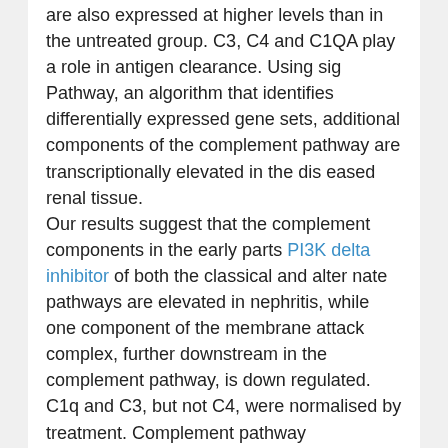are also expressed at higher levels than in the untreated group. C3, C4 and C1QA play a role in antigen clearance. Using sig Pathway, an algorithm that identifies differentially expressed gene sets, additional components of the complement pathway are transcriptionally elevated in the dis eased renal tissue.
Our results suggest that the complement components in the early parts PI3K delta inhibitor of both the classical and alter nate pathways are elevated in nephritis, while one component of the membrane attack complex, further downstream in the complement pathway, is down regulated. C1q and C3, but not C4, were normalised by treatment. Complement pathway components are known to be significant contributors to renal damage. C3 deposition in the kidney has been observed in both human lupus nephritis and in murine models. The elevated levels of C4 during disease amelioration is consistent with the concept that the early members of the classical path way may be important in reducing disease pathology by clear ing immune complexes and apoptotic cells.
Our findings have identified a number of...